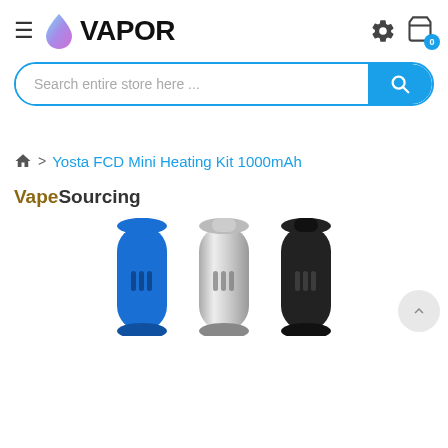[Figure (logo): VAPOR brand logo with blue/purple droplet icon and bold VAPOR text]
[Figure (screenshot): Search bar with placeholder 'Search entire store here ...' and blue search button with magnifying glass icon]
Yosta FCD Mini Heating Kit 1000mAh
[Figure (photo): VapeSourcing product page showing three vape device tops in blue, silver, and black colors]